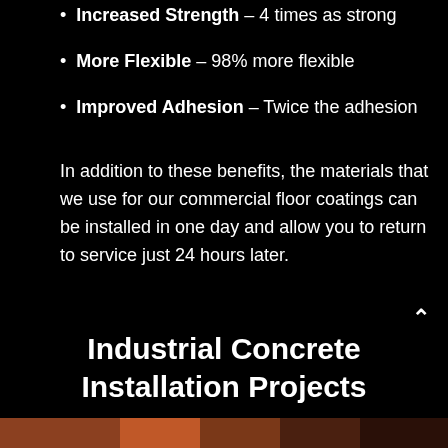Increased Strength – 4 times as strong
More Flexible – 98% more flexible
Improved Adhesion – Twice the adhesion
In addition to these benefits, the materials that we use for our commercial floor coatings can be installed in one day and allow you to return to service just 24 hours later.
Industrial Concrete Installation Projects
[Figure (photo): Bottom strip showing industrial concrete floor installation project imagery]